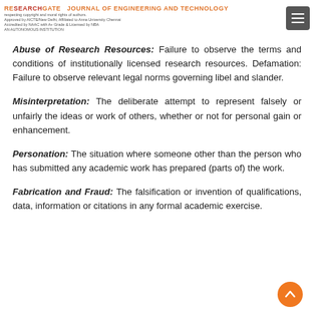JOURNAL OF ENGINEERING AND TECHNOLOGY — AN AUTONOMOUS INSTITUTION
Abuse of Research Resources: Failure to observe the terms and conditions of institutionally licensed research resources. Defamation: Failure to observe relevant legal norms governing libel and slander.
Misinterpretation: The deliberate attempt to represent falsely or unfairly the ideas or work of others, whether or not for personal gain or enhancement.
Personation: The situation where someone other than the person who has submitted any academic work has prepared (parts of) the work.
Fabrication and Fraud: The falsification or invention of qualifications, data, information or citations in any formal academic exercise.